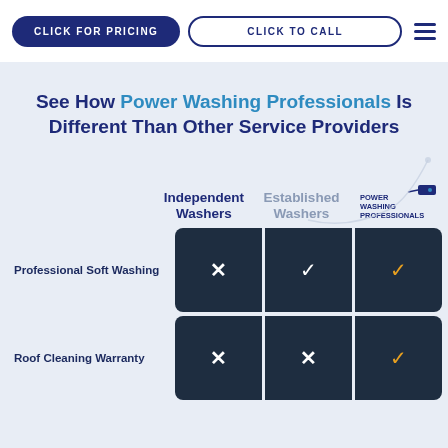CLICK FOR PRICING | CLICK TO CALL
See How Power Washing Professionals Is Different Than Other Service Providers
|  | Independent Washers | Established Washers | Power Washing Professionals |
| --- | --- | --- | --- |
| Professional Soft Washing | ✗ | ✓ | ✓ |
| Roof Cleaning Warranty | ✗ | ✗ | ✓ |